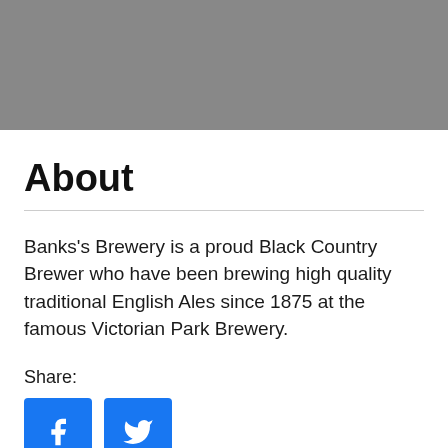[Figure (photo): Gray placeholder image at top of page]
About
Banks's Brewery is a proud Black Country Brewer who have been brewing high quality traditional English Ales since 1875 at the famous Victorian Park Brewery.
Share:
[Figure (infographic): Facebook and Twitter share buttons]